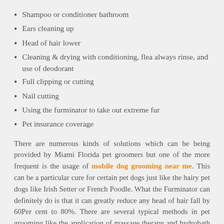Shampoo or conditioner bathroom
Ears cleaning up
Head of hair lower
Cleaning & drying with conditioning, flea always rinse, and use of deodorant
Full clipping or cutting
Nail cutting
Using the furminator to take out extreme fur
Pet insurance coverage
There are numerous kinds of solutions which can be being provided by Miami Florida pet groomers but one of the more frequent is the usage of mobile dog grooming near me. This can be a particular cure for certain pet dogs just like the hairy pet dogs like Irish Setter or French Poodle. What the Furminator can definitely do is that it can greatly reduce any head of hair fall by 60Per cent to 80%. There are several typical methods in pet grooming like the application of massage therapy and hydrobath assistance. Both pet cats and canines love massages and nothing much